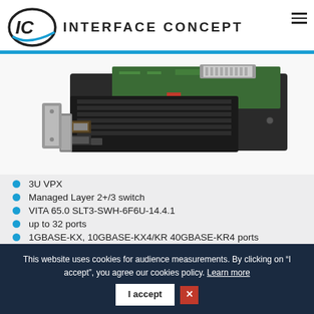INTERFACE CONCEPT
[Figure (photo): 3U VPX managed switch board/module product photo, showing a circuit board with connectors and heatsink from an angled perspective]
3U VPX
Managed Layer 2+/3 switch
VITA 65.0 SLT3-SWH-6F6U-14.4.1
up to 32 ports
1GBASE-KX, 10GBASE-KX4/KR 40GBASE-KR4 ports
This website uses cookies for audience measurements. By clicking on "I accept", you agree our cookies policy. Learn more  I accept  ✕